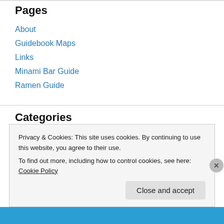Pages
About
Guidebook Maps
Links
Minami Bar Guide
Ramen Guide
Categories
A Journey Around Lake Biwa (3)
Around Osaka (6)
Privacy & Cookies: This site uses cookies. By continuing to use this website, you agree to their use.
To find out more, including how to control cookies, see here: Cookie Policy
Close and accept